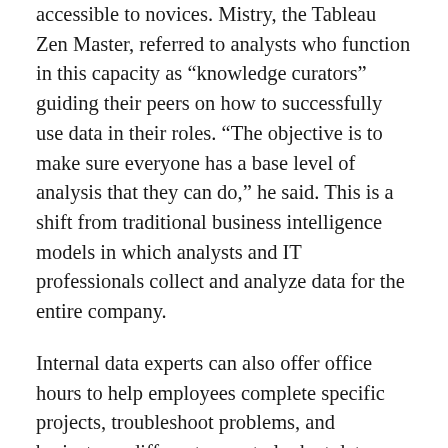accessible to novices. Mistry, the Tableau Zen Master, referred to analysts who function in this capacity as “knowledge curators” guiding their peers on how to successfully use data in their roles. “The objective is to make sure everyone has a base level of analysis that they can do,” he said. This is a shift from traditional business intelligence models in which analysts and IT professionals collect and analyze data for the entire company.
Internal data experts can also offer office hours to help employees complete specific projects, troubleshoot problems, and brainstorm different ways to look at data.
Intuitive software